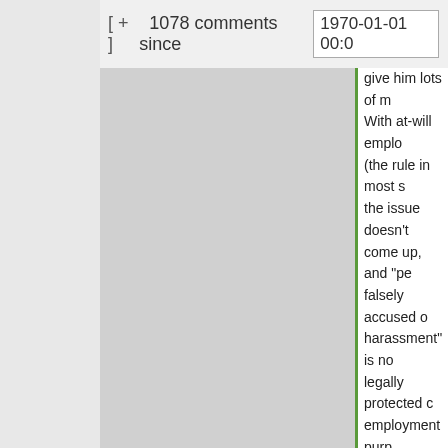[ + ]  1078 comments since  1970-01-01 00:0
give him lots of m... With at-will emplo... (the rule in most s... the issue doesn't... come up, and “pe... falsely accused o... harassment” is no... legally protected c... employment purp... That is not a usef... avenue of compla...
If there is someor... you imagine a pe... due to false accu... of sexual harassm... could usefully con...